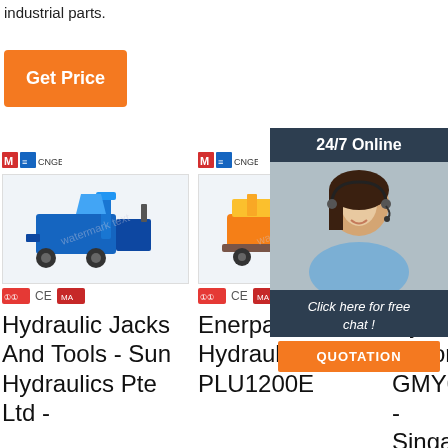industrial parts.
[Figure (other): Orange 'Get Price' button]
[Figure (other): 24/7 Online customer service overlay panel with female agent photo, 'Click here for free chat!' text, and orange QUOTATION button]
[Figure (photo): Blue hydraulic concrete pump machine with brand logos and CE/MA certification icons]
Hydraulic Jacks And Tools - Sun Hydraulics Pte Ltd -
[Figure (photo): Orange/yellow Enerpac electric hydraulic pump machine on wheels with brand logos and CE/MA certification icons]
Enerpac *Electric Hydraulic Pump PLU1200E
[Figure (photo): Partial view of third product with brand logo]
Hy Motor GMY09M - Singapore Used